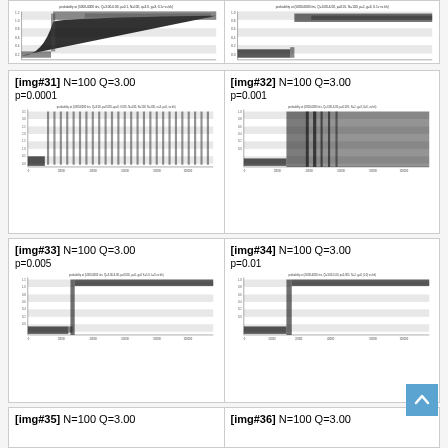[Figure (continuous-plot): Top partial row showing two scatter/density plots (partial view, cropped at top of page). Left plot and right plot both show step-function-like probability distributions over iterations.]
[Figure (continuous-plot): img#31 N=100 Q=3.00 p=0.0001 scatter plot showing chaotic/oscillating distribution over ~100000 iterations]
[Figure (continuous-plot): img#32 N=100 Q=3.00 p=0.001 scatter plot showing partially chaotic then stabilizing distribution]
[Figure (continuous-plot): img#33 N=100 Q=3.00 p=0.005 scatter plot showing stabilized step distribution]
[Figure (continuous-plot): img#34 N=100 Q=3.00 p=0.01 scatter plot showing stabilized step distribution]
[Figure (continuous-plot): img#35 N=100 Q=3.00 (partial, bottom of page)]
[Figure (continuous-plot): img#36 N=100 Q=3.00 (partial, bottom of page)]